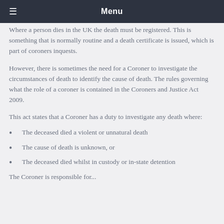Menu
Where a person dies in the UK the death must be registered. This is something that is normally routine and a death certificate is issued, which is part of coroners inquests.
However, there is sometimes the need for a Coroner to investigate the circumstances of death to identify the cause of death. The rules governing what the role of a coroner is contained in the Coroners and Justice Act 2009.
This act states that a Coroner has a duty to investigate any death where:
The deceased died a violent or unnatural death
The cause of death is unknown, or
The deceased died whilst in custody or in-state detention
The Coroner is responsible for...